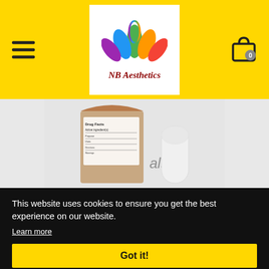NB Aesthetics — website header with logo, hamburger menu, and cart icon
[Figure (logo): NB Aesthetics logo: colorful lotus flower above stylized italic text 'NB Aesthetics' in dark red/maroon]
[Figure (photo): Product photo showing a tan/brown box with drug facts label and a white deodorant/cosmetic stick applicator on a light gray background]
This website uses cookies to ensure you get the best experience on our website.
Learn more
Got it!